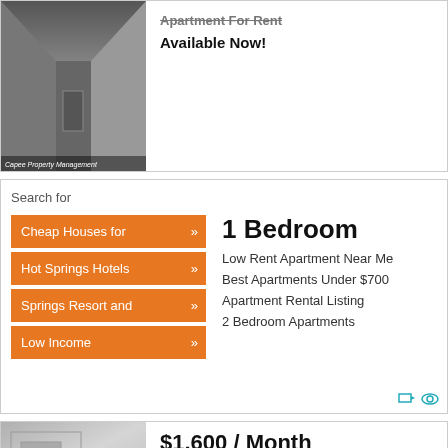[Figure (photo): Garage/hallway photo with watermark 'Capee Property Management']
Apartment For Rent
Available Now!
Search for
Cheap Houses for »
Hot Springs Hotels »
Springs Resort and »
Low Income »
1 Bedroom
Low Rent Apartment Near Me
Best Apartments Under $700
Apartment Rental Listing
2 Bedroom Apartments
[Figure (photo): Interior room photo (bottom listing)]
$1,600 / Month
Palm Springs, CA